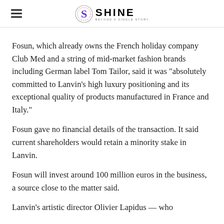SHINE BEYOND A SINGLE STORY
Fosun, which already owns the French holiday company Club Med and a string of mid-market fashion brands including German label Tom Tailor, said it was “absolutely committed to Lanvin’s high luxury positioning and its exceptional quality of products manufactured in France and Italy.”
Fosun gave no financial details of the transaction. It said current shareholders would retain a minority stake in Lanvin.
Fosun will invest around 100 million euros in the business, a source close to the matter said.
Lanvin’s artistic director Olivier Lapidus — who